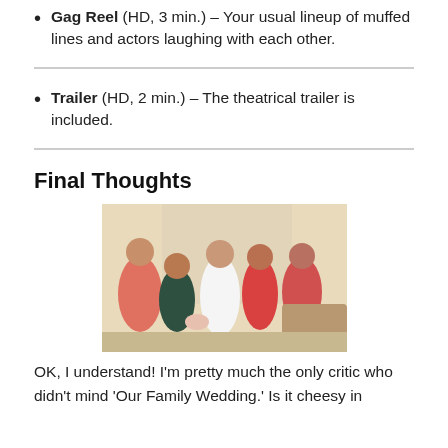Gag Reel (HD, 3 min.) – Your usual lineup of muffed lines and actors laughing with each other.
Trailer (HD, 2 min.) – The theatrical trailer is included.
Final Thoughts
[Figure (photo): Group photo of a bride in white dress with several bridesmaids in coral/red dresses and one woman in a dark floral dress, posing together indoors.]
OK, I understand! I'm pretty much the only critic who didn't mind 'Our Family Wedding.' Is it cheesy in